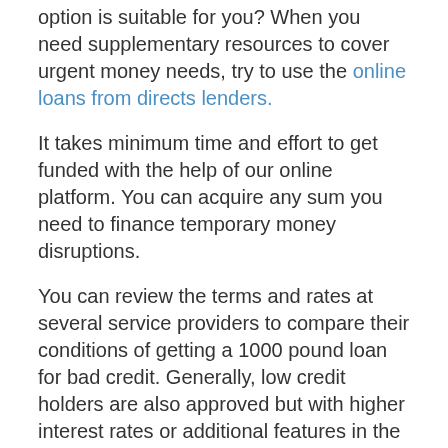option is suitable for you? When you need supplementary resources to cover urgent money needs, try to use the online loans from directs lenders.
It takes minimum time and effort to get funded with the help of our online platform. You can acquire any sum you need to finance temporary money disruptions.
You can review the terms and rates at several service providers to compare their conditions of getting a 1000 pound loan for bad credit. Generally, low credit holders are also approved but with higher interest rates or additional features in the loan agreement. To be eligible for £1000 loans you should:
WARNING: LATE REPAYMENT CAN CAUSE YOU SERIOUS MONEY PROBLEMS. FOR HELP, GO TO MONEYHELPER.ORG.UK STERLINGSTORE.CO.UK IS A BROKER, NOT A LENDER, AND DOES NOT MAKE CREDIT DECISIONS. WE MAY RECEIVE A COMMISSION FROM THE LENDER